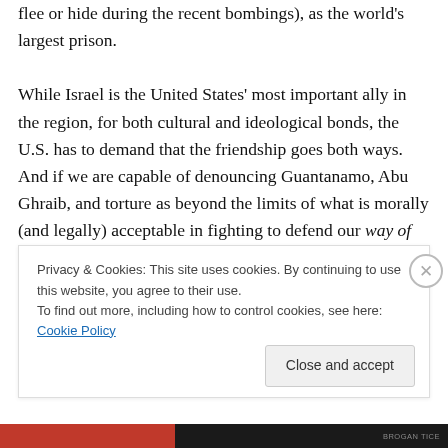flee or hide during the recent bombings), as the world's largest prison.
While Israel is the United States' most important ally in the region, for both cultural and ideological bonds, the U.S. has to demand that the friendship goes both ways. And if we are capable of denouncing Guantanamo, Abu Ghraib, and torture as beyond the limits of what is morally (and legally) acceptable in fighting to defend our way of life, then surely we can tell Israel that bombing heavily populated civilian areas indescriminately is also reprehensible. Otherwise, it is hard to imagine that there
Privacy & Cookies: This site uses cookies. By continuing to use this website, you agree to their use.
To find out more, including how to control cookies, see here: Cookie Policy
Close and accept